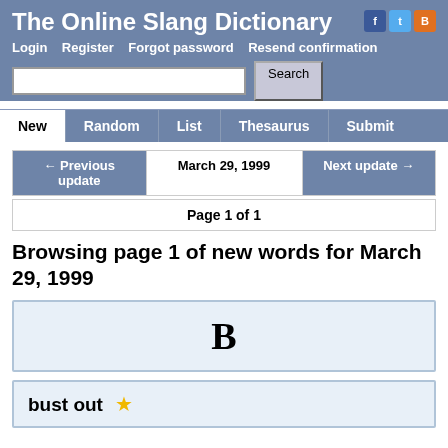The Online Slang Dictionary
Login   Register   Forgot password   Resend confirmation
Search
New   Random   List   Thesaurus   Submit
← Previous update   March 29, 1999   Next update →
Page 1 of 1
Browsing page 1 of new words for March 29, 1999
B
bust out ⭐